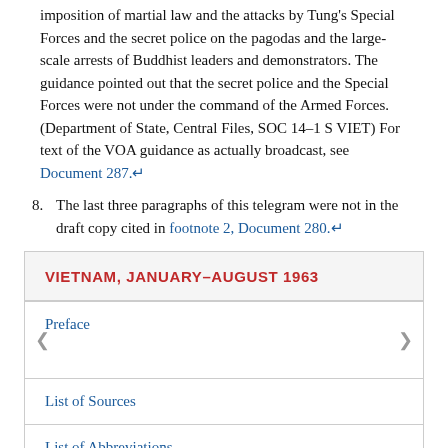imposition of martial law and the attacks by Tung's Special Forces and the secret police on the pagodas and the large-scale arrests of Buddhist leaders and demonstrators. The guidance pointed out that the secret police and the Special Forces were not under the command of the Armed Forces. (Department of State, Central Files, SOC 14–1 S VIET) For text of the VOA guidance as actually broadcast, see Document 287.↵
8. The last three paragraphs of this telegram were not in the draft copy cited in footnote 2, Document 280.↵
VIETNAM, JANUARY–AUGUST 1963
Preface
List of Sources
List of Abbreviations
List of Persons